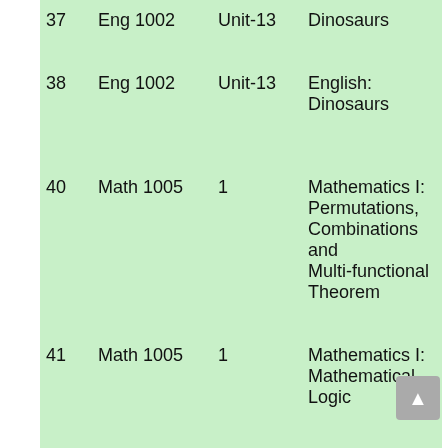| # | Course | Unit | Title |
| --- | --- | --- | --- |
| 37 | Eng 1002 | Unit-13 | Dinosaurs |
| 38 | Eng 1002 | Unit-13 | English: Dinosaurs |
| 40 | Math 1005 | 1 | Mathematics I: Permutations, Combinations and Multi-functional Theorem |
| 41 | Math 1005 | 1 | Mathematics I: Mathematical Logic |